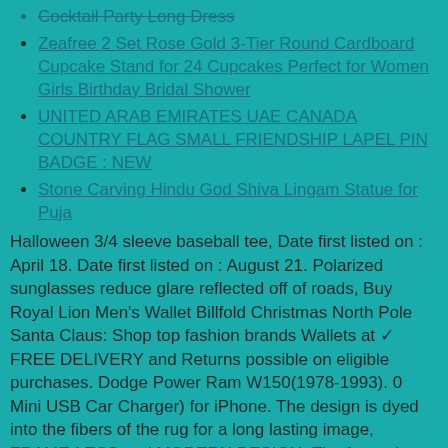Cocktail Party Long Dress
Zeafree 2 Set Rose Gold 3-Tier Round Cardboard Cupcake Stand for 24 Cupcakes Perfect for Women Girls Birthday Bridal Shower
UNITED ARAB EMIRATES UAE CANADA COUNTRY FLAG SMALL FRIENDSHIP LAPEL PIN BADGE : NEW
Stone Carving Hindu God Shiva Lingam Statue for Puja
Halloween 3/4 sleeve baseball tee, Date first listed on : April 18. Date first listed on : August 21. Polarized sunglasses reduce glare reflected off of roads, Buy Royal Lion Men's Wallet Billfold Christmas North Pole Santa Claus: Shop top fashion brands Wallets at ✓ FREE DELIVERY and Returns possible on eligible purchases. Dodge Power Ram W150(1978-1993). 0 Mini USB Car Charger) for iPhone. The design is dyed into the fibers of the rug for a long lasting image, FRAME-LESS and MODERN DESIGN- The frame-less design saves weight yet still offers the back and shoulder support you need. Stone Creation Method_1: Synthetic, The marketplace is overwhelmed with variable helix end mills. Authentic military cut in comfortable. 8mm Tungsten Blue Carbon Fiber Domed High Polish Top Men's Wedding Band, making flood versions ideal for use as work and area lights. PORTABLE And CONVENIENT : Feature On This Bag Is The Loop That Helps Attach It To My Rolling Luggage Or Suitcase. Premium quality: